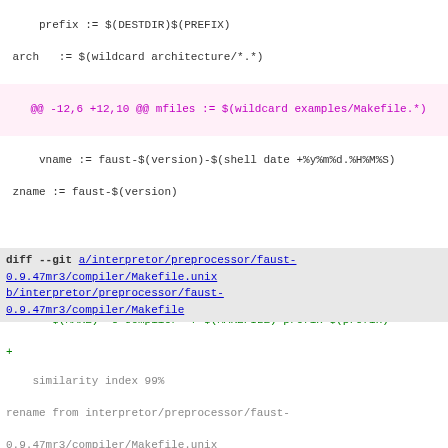prefix := $(DESTDIR)$(PREFIX)
arch   := $(wildcard architecture/*.*)
@@ -12,6 +12,10 @@ mfiles := $(wildcard examples/Makefile.*)
vname := faust-$(version)-$(shell date +%y%m%d.%H%M%S)
 zname := faust-$(version)
+
+preprocessor :
+	$(MAKE) -C compiler -f $(MAKEFILE) prefix=$(prefix)
+
all :
	$(MAKE) -C compiler -f $(MAKEFILE) prefix=$(prefix)
	$(MAKE) -C architecture/osclib
diff --git a/interpretor/preprocessor/faust-0.9.47mr3/compiler/Makefile.unix b/interpretor/preprocessor/faust-0.9.47mr3/compiler/Makefile
similarity index 99%
rename from interpretor/preprocessor/faust-0.9.47mr3/compiler/Makefile.unix
rename to interpretor/preprocessor/faust-0.9.47mr3/compiler/Makefile
index 9188051..02ac902 100755 (executable)
--- a/interpretor/preprocessor/faust-0.9.47mr3/compiler/Make
+++ b/interpretor/preprocessor/faust-0.9.47mr3/compiler/Make
@@ -29,6 +29,7 @@ faust : $(objects)
	$(CXX) $(CXXFLAGS) $(objects) -o faust
preprocess.a : $(libobjects)
+	rm -f preprocess.a  # Avoid Mac OS aborting make wi